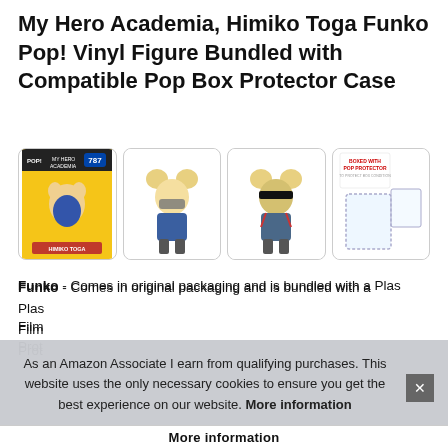My Hero Academia, Himiko Toga Funko Pop! Vinyl Figure Bundled with Compatible Pop Box Protector Case
[Figure (photo): Four product images in a row: (1) Himiko Toga Funko Pop #787 in yellow retail box, (2) Front view of Himiko Toga vinyl figure, (3) Back view of Himiko Toga vinyl figure, (4) 'Boxed With Pop Protector' image showing clear plastic protector cases]
Funko - Comes in original packaging and is bundled with a Plastic Pop Box Protector Case. Film, TV, Video Games Pop! Vinyl Figures. Compatible Pop Box Protector Case.
As an Amazon Associate I earn from qualifying purchases. This website uses the only necessary cookies to ensure you get the best experience on our website. More information
More information